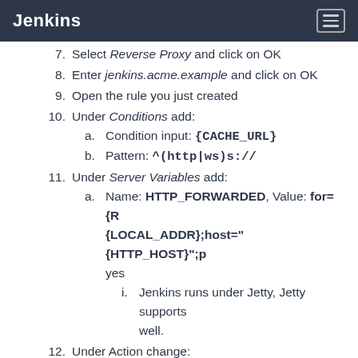Jenkins
7. Select Reverse Proxy and click on OK
8. Enter jenkins.acme.example and click on OK
9. Open the rule you just created
10. Under Conditions add: a. Condition input: {CACHE_URL} b. Pattern: ^(http|ws)s://
11. Under Server Variables add: a. Name: HTTP_FORWARDED, Value: for={R... {LOCAL_ADDR};host="{HTTP_HOST}";p... yes i. Jenkins runs under Jetty, Jetty supports well.
12. Under Action change: a. Rewrite URL to \ {C:1}\://jenkins.acme.example:8080{U i. Note that there is no slash between the...